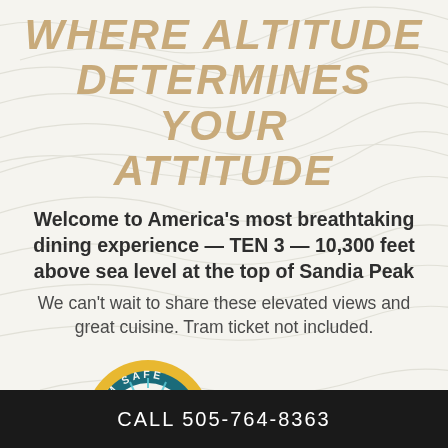WHERE ALTITUDE DETERMINES YOUR ATTITUDE
Welcome to America's most breathtaking dining experience — TEN 3 — 10,300 feet above sea level at the top of Sandia Peak
We can't wait to share these elevated views and great cuisine. Tram ticket not included.
[Figure (logo): NM Safe Certified badge — circular badge with gold border and teal interior reading 'NM SAFE' at top and 'CERTIFIED' at bottom, with New Mexico state outline containing a heart in the center, decorated with sunburst pattern.]
TRAINED IN COVID-SAFE PRACTICES
CALL 505-764-8363